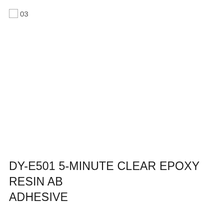03
DY-E501 5-MINUTE CLEAR EPOXY RESIN AB ADHESIVE